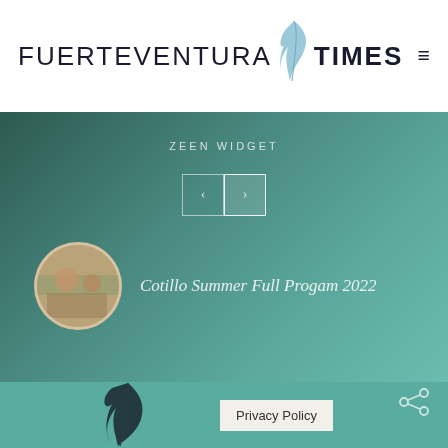[Figure (logo): Fuerteventura Times logo with feather quill between the two words]
ZEEN WIDGET
Cotillo Summer Full Progam 2022
Privacy Policy